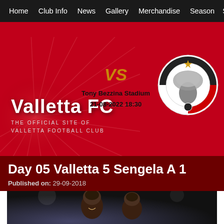Home  Club Info  News  Gallery  Merchandise  Season  Sq
[Figure (screenshot): Valletta FC website hero banner with red background, sunburst graphic, VS match indicator, Tony Bezzina Stadium 21-08-2022 18:30, Hibernians FC badge, Valletta FC logo and tagline]
Day 05 Valletta 5 Sengela A 1
Published on: 29-09-2018
[Figure (photo): Two players smiling, photographed from below against stadium lights background]